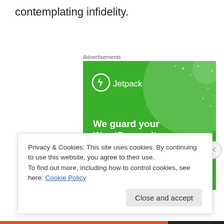contemplating infidelity.
Advertisements
[Figure (illustration): Jetpack advertisement banner with green background showing logo, 'We guard your WordPress site. You run your business.' text with decorative circles and dots.]
Privacy & Cookies: This site uses cookies. By continuing to use this website, you agree to their use.
To find out more, including how to control cookies, see here: Cookie Policy
Close and accept